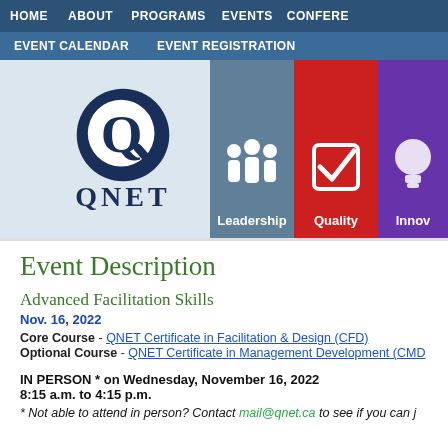HOME   ABOUT   PROGRAMS   EVENTS   CONFERE...
EVENT CALENDAR   EVENT REGISTRATION
[Figure (logo): QNET logo with Q circle icon and QNET text, plus Leadership (teal), Quality (red), Innovation (purple) icon tiles]
Event Description
Advanced Facilitation Skills
Nov. 16, 2022
Core Course - QNET Certificate in Facilitation & Design (CFD)
Optional Course - QNET Certificate in Management Development (CMD)
IN PERSON * on Wednesday, November 16, 2022
8:15 a.m. to 4:15 p.m.
* Not able to attend in person? Contact mail@qnet.ca to see if you can join...